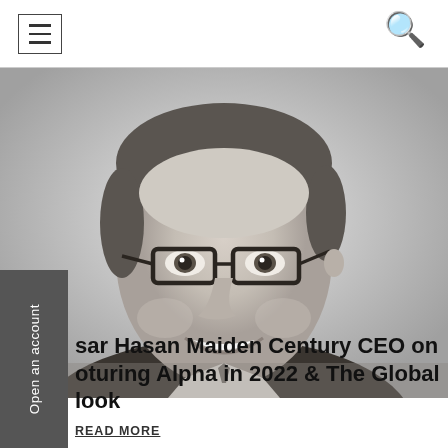Navigation bar with hamburger menu and search icon
[Figure (photo): Black and white headshot photo of a smiling man wearing rectangular glasses, wearing a suit and tie, cropped to show head and shoulders.]
sar Hasan Maiden Century CEO on oturing Alpha in 2022 & The Global look
READ MORE